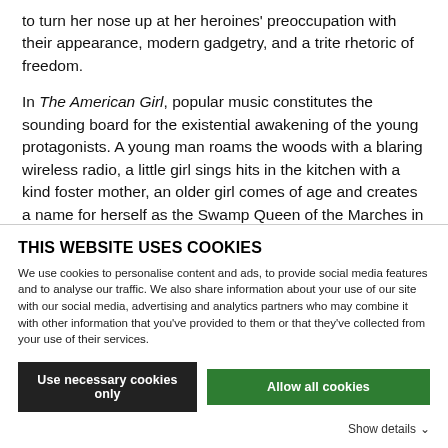to turn her nose up at her heroines' preoccupation with their appearance, modern gadgetry, and a trite rhetoric of freedom.

In The American Girl, popular music constitutes the sounding board for the existential awakening of the young protagonists. A young man roams the woods with a blaring wireless radio, a little girl sings hits in the kitchen with a kind foster mother, an older girl comes of age and creates a name for herself as the Swamp Queen of the Marches in the world of pop – or rubbish – music, and so
THIS WEBSITE USES COOKIES
We use cookies to personalise content and ads, to provide social media features and to analyse our traffic. We also share information about your use of our site with our social media, advertising and analytics partners who may combine it with other information that you've provided to them or that they've collected from your use of their services.
Use necessary cookies only
Allow all cookies
Show details